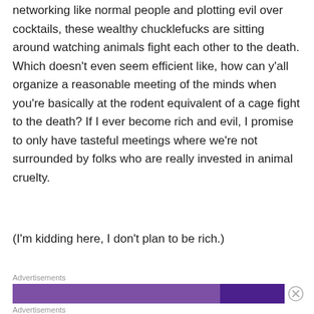networking like normal people and plotting evil over cocktails, these wealthy chucklefucks are sitting around watching animals fight each other to the death. Which doesn't even seem efficient like, how can y'all organize a reasonable meeting of the minds when you're basically at the rodent equivalent of a cage fight to the death? If I ever become rich and evil, I promise to only have tasteful meetings where we're not surrounded by folks who are really invested in animal cruelty.
(I'm kidding here, I don't plan to be rich.)
Advertisements
[Figure (other): Purple advertisement banner with two-tone purple gradient bar]
Advertisements
[Figure (other): Seamless food delivery advertisement with pizza image on left, Seamless logo in red center, and ORDER NOW button on right against dark background]